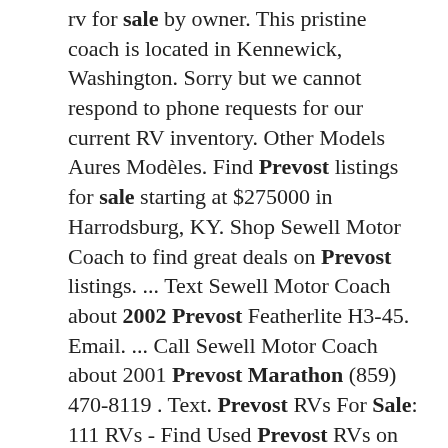rv for sale by owner. This pristine coach is located in Kennewick, Washington. Sorry but we cannot respond to phone requests for our current RV inventory. Other Models Aures Modèles. Find Prevost listings for sale starting at $275000 in Harrodsburg, KY. Shop Sewell Motor Coach to find great deals on Prevost listings. ... Text Sewell Motor Coach about 2002 Prevost Featherlite H3-45. Email. ... Call Sewell Motor Coach about 2001 Prevost Marathon (859) 470-8119 . Text. Prevost RVs For Sale: 111 RVs - Find Used Prevost RVs on RV Trader. ... 2008 Prevost Marathon H3-45 Triple Slide New Listing 1/29/21. 2009 Prevost Parliament XLII Double Slide Price Update $ 549,000. Their commitment to research and refining the way that their RVs and motorcoaches are built allows them to continue to build on their legacy of. Sale Pending.